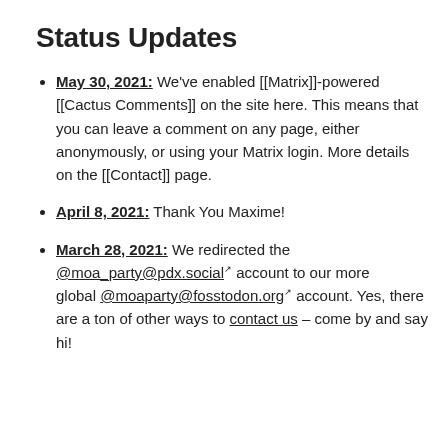Status Updates
May 30, 2021: We've enabled [[Matrix]]-powered [[Cactus Comments]] on the site here. This means that you can leave a comment on any page, either anonymously, or using your Matrix login. More details on the [[Contact]] page.
April 8, 2021: Thank You Maxime!
March 28, 2021: We redirected the @moa_party@pdx.social account to our more global @moaparty@fosstodon.org account. Yes, there are a ton of other ways to contact us – come by and say hi!